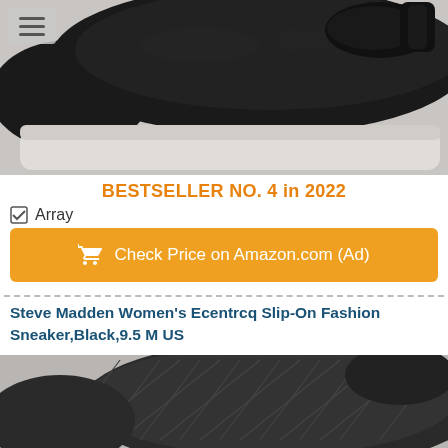[Figure (photo): Black leather slip-on sneaker with white sole, partially cropped at top of page]
BESTSELLER NO. 4 in 2022
☑ Array
Check Price on Amazon.com (Ad)
Steve Madden Women's Ecentrcq Slip-On Fashion Sneaker,Black,9.5 M US
[Figure (photo): Black quilted slip-on sneaker, partially visible at bottom of page]